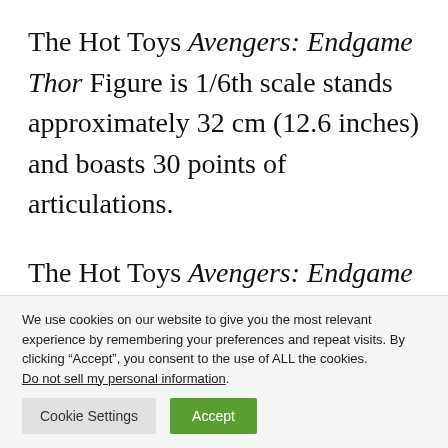The Hot Toys Avengers: Endgame Thor Figure is 1/6th scale stands approximately 32 cm (12.6 inches) and boasts 30 points of articulations.
The Hot Toys Avengers: Endgame Thor Figure is expected to arrive sometime in Q1-
We use cookies on our website to give you the most relevant experience by remembering your preferences and repeat visits. By clicking “Accept”, you consent to the use of ALL the cookies. Do not sell my personal information.